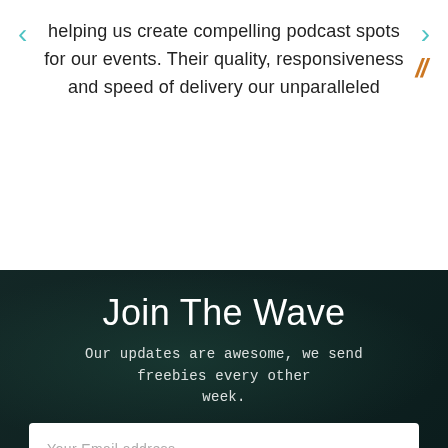helping us create compelling podcast spots for our events. Their quality, responsiveness and speed of delivery our unparalleled
Join The Wave
Our updates are awesome, we send freebies every other week.
Your Email address
Subscribe